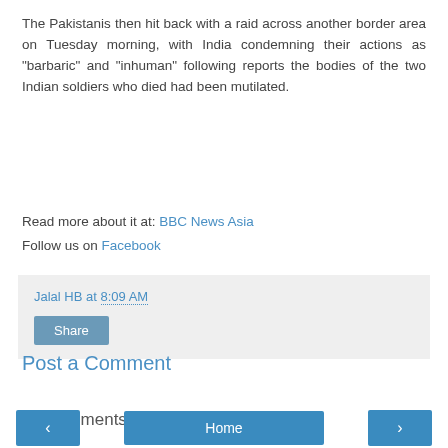The Pakistanis then hit back with a raid across another border area on Tuesday morning, with India condemning their actions as "barbaric" and "inhuman" following reports the bodies of the two Indian soldiers who died had been mutilated.
Read more about it at: BBC News Asia
Follow us on Facebook
Jalal HB at 8:09 AM
Share
No comments:
Post a Comment
‹
Home
›